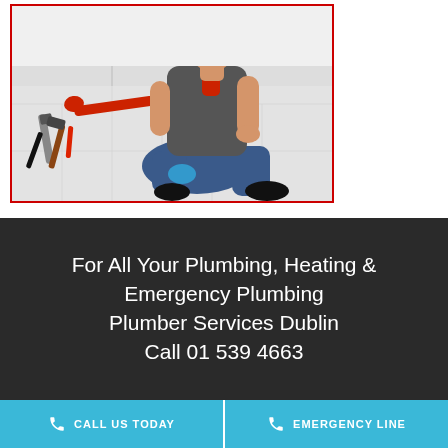[Figure (photo): A plumber kneeling on white tiled floor working with a red pipe tool, with various tools scattered on the floor nearby (screwdriver, wrench, hammer). The plumber is wearing jeans and black boots with a blue knee pad.]
For All Your Plumbing, Heating & Emergency Plumbing Plumber Services Dublin Call 01 539 4663
CALL US TODAY
EMERGENCY LINE